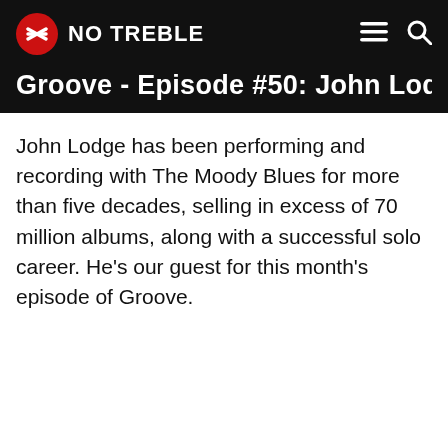NO TREBLE
Groove - Episode #50: John Lodge
John Lodge has been performing and recording with The Moody Blues for more than five decades, selling in excess of 70 million albums, along with a successful solo career. He's our guest for this month's episode of Groove.